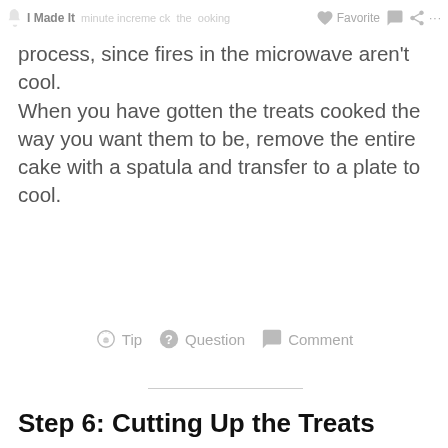I Made It  Favorite
process, since fires in the microwave aren't cool. When you have gotten the treats cooked the way you want them to be, remove the entire cake with a spatula and transfer to a plate to cool.
Tip   Question   Comment
Step 6: Cutting Up the Treats